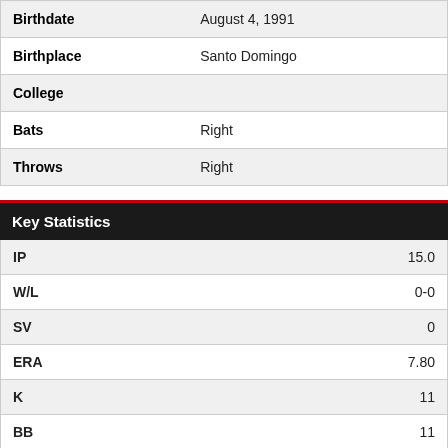| Field | Value |
| --- | --- |
| Birthdate | August 4, 1991 |
| Birthplace | Santo Domingo |
| College |  |
| Bats | Right |
| Throws | Right |
Key Statistics
| Stat | Value |
| --- | --- |
| IP | 15.0 |
| W/L | 0-0 |
| SV | 0 |
| ERA | 7.80 |
| K | 11 |
| BB | 11 |